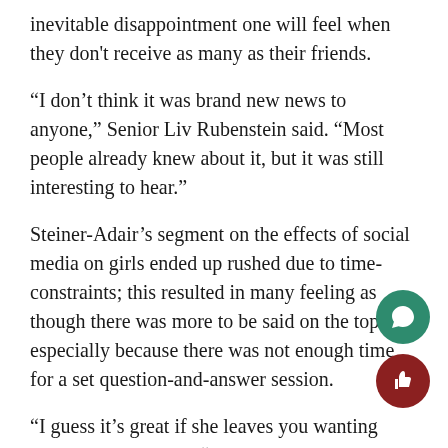inevitable disappointment one will feel when they don't receive as many as their friends.
“I don’t think it was brand new news to anyone,” Senior Liv Rubenstein said. “Most people already knew about it, but it was still interesting to hear.”
Steiner-Adair’s segment on the effects of social media on girls ended up rushed due to time-constraints; this resulted in many feeling as though there was more to be said on the topic, especially because there was not enough time for a set question-and-answer session.
“I guess it’s great if she leaves you wanting more,” Cannon said. “She was really compelling and had many more great things to say. I would’ve loved to sit down to have coffee with her, and talk more about social media.”